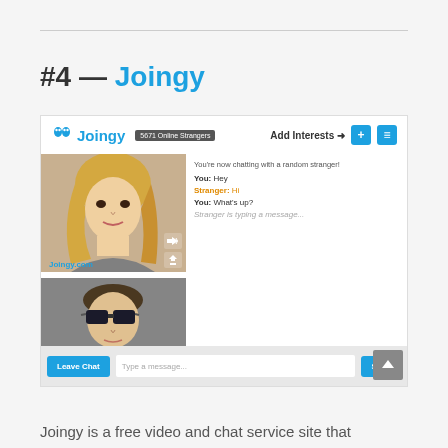#4 — Joingy
[Figure (screenshot): Screenshot of Joingy website showing video chat interface with two webcam panels, chat messages, and controls including Add Interests button, Leave Chat button, and Send button]
Joingy is a free video and chat service site that